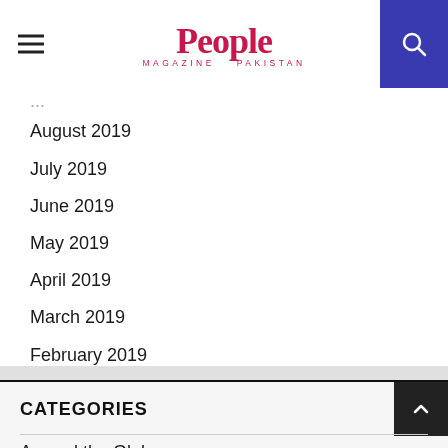People Magazine Pakistan
August 2019
July 2019
June 2019
May 2019
April 2019
March 2019
February 2019
January 2019
September 2017
CATEGORIES
Around the Globe